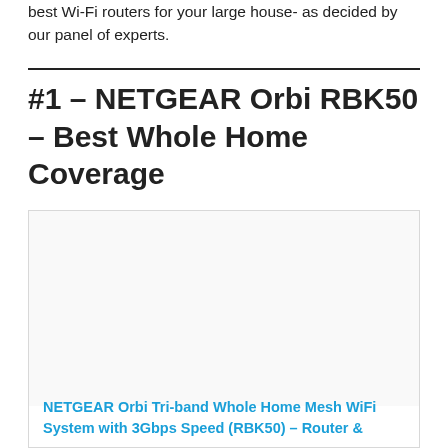best Wi-Fi routers for your large house- as decided by our panel of experts.
#1 – NETGEAR Orbi RBK50 – Best Whole Home Coverage
[Figure (photo): Product image placeholder for NETGEAR Orbi RBK50 router]
NETGEAR Orbi Tri-band Whole Home Mesh WiFi System with 3Gbps Speed (RBK50) – Router &